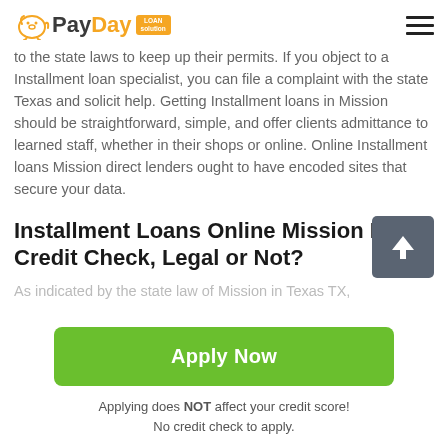PayDay Loan Solution
to the state laws to keep up their permits. If you object to a Installment loan specialist, you can file a complaint with the state Texas and solicit help. Getting Installment loans in Mission should be straightforward, simple, and offer clients admittance to learned staff, whether in their shops or online. Online Installment loans Mission direct lenders ought to have encoded sites that secure your data.
Installment Loans Online Mission No Credit Check, Legal or Not?
As indicated by the state law of Mission in Texas TX,
[Figure (other): Green Apply Now button]
Applying does NOT affect your credit score!
No credit check to apply.